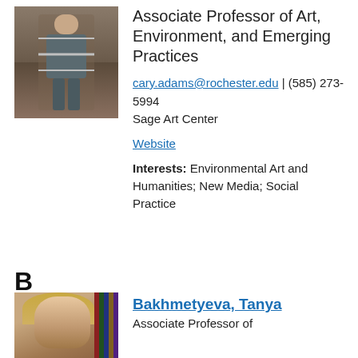[Figure (photo): Photo of a person standing near large metal sculptural installation outdoors, split into two frames]
Associate Professor of Art, Environment, and Emerging Practices
cary.adams@rochester.edu | (585) 273-5994
Sage Art Center
Website
Interests: Environmental Art and Humanities; New Media; Social Practice
B
[Figure (photo): Headshot of a woman with blonde hair, bookshelves visible in background]
Bakhmetyeva, Tanya
Associate Professor of